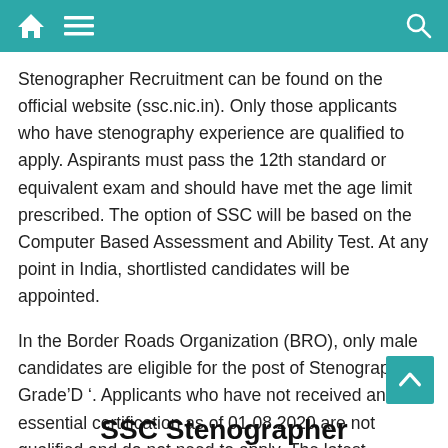Navigation bar with home, menu, and search icons
Stenographer Recruitment can be found on the official website (ssc.nic.in). Only those applicants who have stenography experience are qualified to apply. Aspirants must pass the 12th standard or equivalent exam and should have met the age limit prescribed. The option of SSC will be based on the Computer Based Assessment and Ability Test. At any point in India, shortlisted candidates will be appointed.
In the Border Roads Organization (BRO), only male candidates are eligible for the post of Stenographer Grade’D ‘. Applicants who have not received an essential certification as of 01.08.2020 are not qualified and do not need to apply. The latest vacancies, upcoming SSC work notices, syllabus, response key, merit list, preference list, admission card, outcome, upcoming notifications, etc. will be uploaded to the official website for more information.
SSC Stenographer